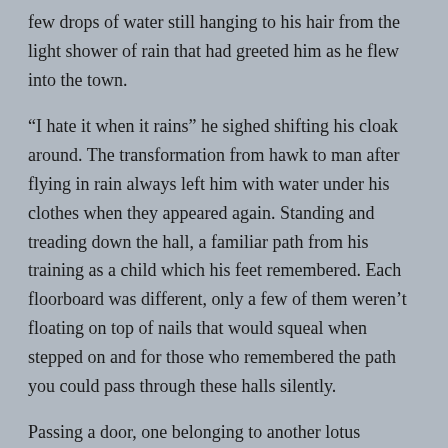few drops of water still hanging to his hair from the light shower of rain that had greeted him as he flew into the town.
“I hate it when it rains” he sighed shifting his cloak around. The transformation from hawk to man after flying in rain always left him with water under his clothes when they appeared again. Standing and treading down the hall, a familiar path from his training as a child which his feet remembered. Each floorboard was different, only a few of them weren’t floating on top of nails that would squeal when stepped on and for those who remembered the path you could pass through these halls silently.
Passing a door, one belonging to another lotus member who was initiated a month later than he, he saw it was empty, but the external facing window was left open which was expected – their order was given all kinds of orders and had to deal with all situations imaginable.